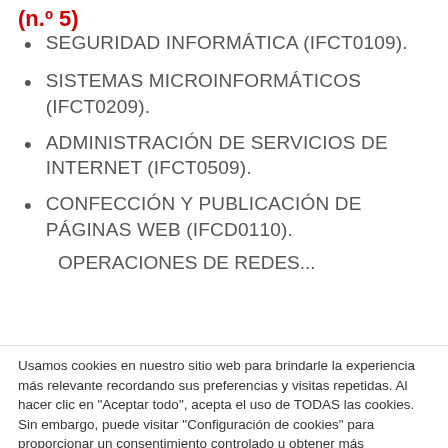(n.º 5)
SEGURIDAD INFORMÁTICA (IFCT0109).
SISTEMAS MICROINFORMÁTICOS (IFCT0209).
ADMINISTRACIÓN DE SERVICIOS DE INTERNET (IFCT0509).
CONFECCIÓN Y PUBLICACIÓN DE PÁGINAS WEB (IFCD0110).
OPERACIONES DE REDES...
Usamos cookies en nuestro sitio web para brindarle la experiencia más relevante recordando sus preferencias y visitas repetidas. Al hacer clic en "Aceptar todo", acepta el uso de TODAS las cookies. Sin embargo, puede visitar "Configuración de cookies" para proporcionar un consentimiento controlado u obtener más información en nuestra Política de Cookies
Configuración de Cookies | Aceptar Todo